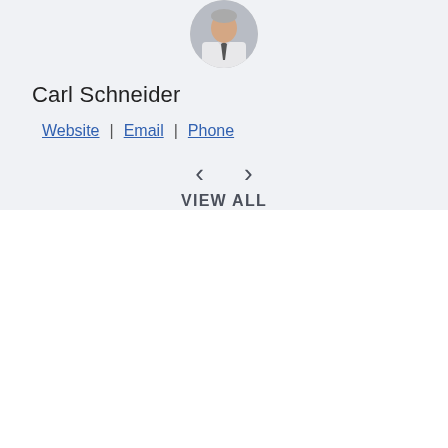[Figure (photo): Circular headshot photo of Carl Schneider, a man in a suit and tie]
Carl Schneider
Website | Email | Phone
< > VIEW ALL